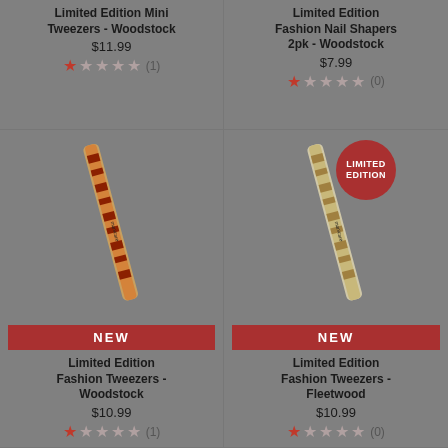Limited Edition Mini Tweezers - Woodstock
$11.99
★☆☆☆☆ (1)
Limited Edition Fashion Nail Shapers 2pk - Woodstock
$7.99
★☆☆☆☆ (0)
[Figure (photo): Limited Edition Fashion Tweezers - Woodstock product image with NEW badge]
NEW
Limited Edition Fashion Tweezers - Woodstock
$10.99
★☆☆☆☆ (1)
[Figure (photo): Limited Edition Fashion Tweezers - Fleetwood product image with LIMITED EDITION badge and NEW badge]
NEW
Limited Edition Fashion Tweezers - Fleetwood
$10.99
★☆☆☆☆ (0)
[Figure (photo): LIMITED EDITION badge partially visible at bottom left]
[Figure (photo): LIMITED EDITION badge partially visible at bottom right]